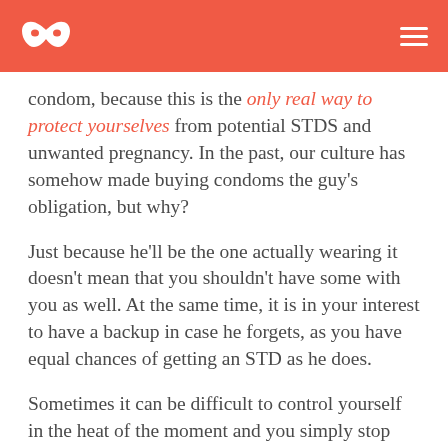[Logo mask icon] [Hamburger menu]
condom, because this is the only real way to protect yourselves from potential STDS and unwanted pregnancy. In the past, our culture has somehow made buying condoms the guy’s obligation, but why?
Just because he’ll be the one actually wearing it doesn’t mean that you shouldn’t have some with you as well. At the same time, it is in your interest to have a backup in case he forgets, as you have equal chances of getting an STD as he does.
Sometimes it can be difficult to control yourself in the heat of the moment and you simply stop caring about protection, and this is something you can’t allow to happen. Make sure that you always